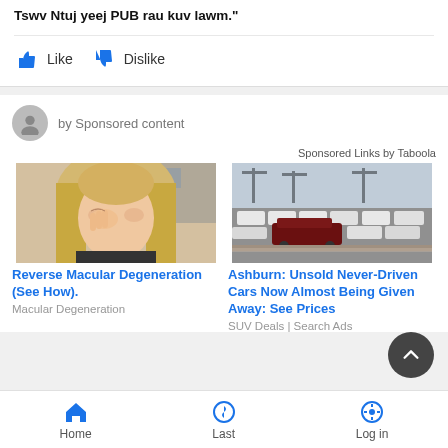Tswv Ntuj yeej PUB rau kuv lawm."
Like   Dislike
by Sponsored content
Sponsored Links by Taboola
[Figure (photo): Woman with blonde hair rubbing her eye with hand, wearing black top, outdoors]
[Figure (photo): Aerial view of a car lot with many white and dark SUVs parked near a port/harbor]
Reverse Macular Degeneration (See How).
Macular Degeneration
Ashburn: Unsold Never-Driven Cars Now Almost Being Given Away: See Prices
SUV Deals | Search Ads
Home   Last   Log in